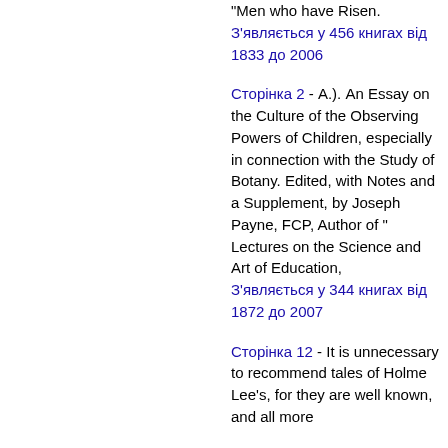"Men who have Risen. З'являється у 456 книгах від 1833 до 2006
Сторінка 2 - А.). An Essay on the Culture of the Observing Powers of Children, especially in connection with the Study of Botany. Edited, with Notes and a Supplement, by Joseph Payne, FCP, Author of "Lectures on the Science and Art of Education, З'являється у 344 книгах від 1872 до 2007
Сторінка 12 - It is unnecessary to recommend tales of Holme Lee's, for they are well known, and all more